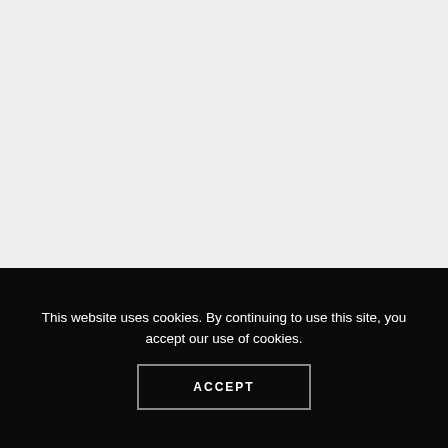[Figure (screenshot): Light gray background area occupying the top portion of the page, representing a webpage content area.]
This website uses cookies. By continuing to use this site, you accept our use of cookies.
ACCEPT